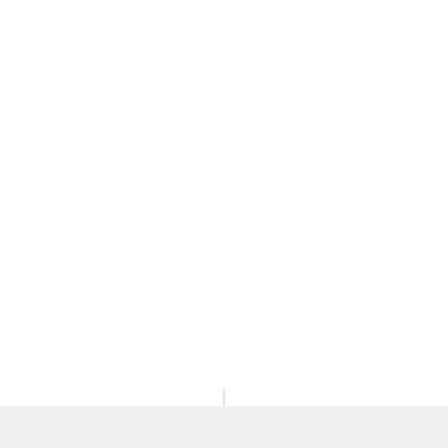Outdoor Number Line
[Figure (other): Light gray footer bar at the bottom of the page with a faint vertical divider line above it]